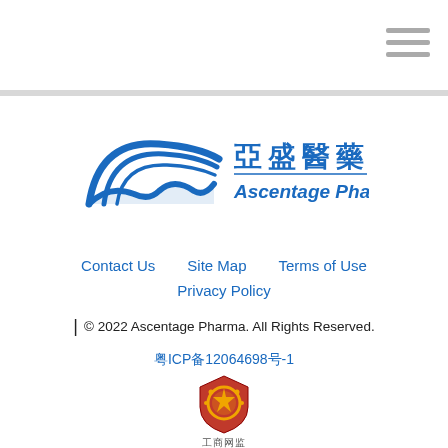[Figure (logo): Ascentage Pharma logo with Chinese characters 亞盛醫藥 and stylized blue arc swoosh mark]
Contact Us    Site Map    Terms of Use
Privacy Policy
| © 2022 Ascentage Pharma. All Rights Reserved.
粤ICP备12064698号-1
[Figure (logo): Chinese internet security badge — 工商网监 police shield emblem in red/gold]